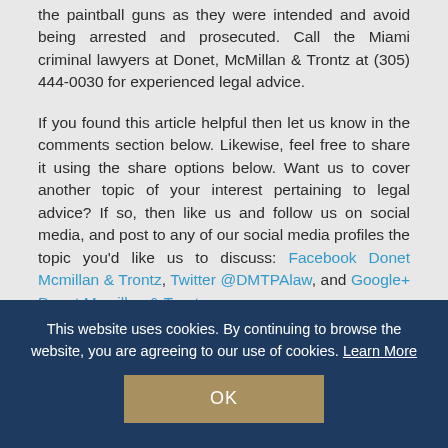the paintball guns as they were intended and avoid being arrested and prosecuted. Call the Miami criminal lawyers at Donet, McMillan & Trontz at (305) 444-0030 for experienced legal advice.
If you found this article helpful then let us know in the comments section below. Likewise, feel free to share it using the share options below. Want us to cover another topic of your interest pertaining to legal advice? If so, then like us and follow us on social media, and post to any of our social media profiles the topic you'd like us to discuss: Facebook Donet Mcmillan & Trontz, Twitter @DMTPAlaw, and Google+ Donet Mcmillan & Trontz.
Categories:
Felonies
,
Misdemeanors
[Figure (infographic): Social share buttons: orange views counter showing 6.06K, Facebook blue icon, Twitter blue icon]
This website uses cookies. By continuing to browse the website, you are agreeing to our use of cookies. Learn More
OK